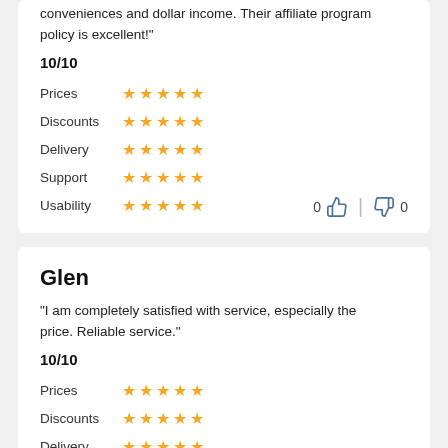conveniences and dollar income. Their affiliate program policy is excellent!
10/10
Prices ★★★★★
Discounts ★★★★★
Delivery ★★★★★
Support ★★★★★
Usability ★★★★★
Glen
"I am completely satisfied with service, especially the price. Reliable service."
10/10
Prices ★★★★★
Discounts ★★★★★
Delivery ★★★★★